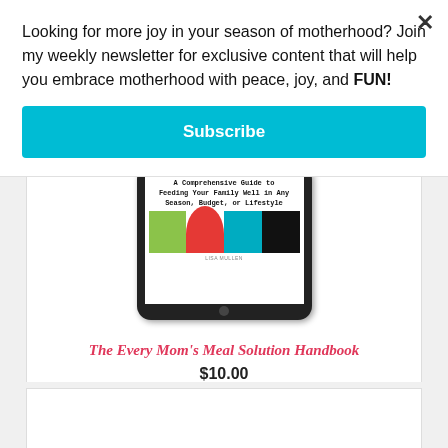Looking for more joy in your season of motherhood? Join my weekly newsletter for exclusive content that will help you embrace motherhood with peace, joy, and FUN!
Subscribe
[Figure (photo): A tablet device showing a book cover titled 'A Comprehensive Guide to Feeding Your Family Well in Any Season, Budget, or Lifestyle' by Lisa Mullen, with colorful stripes on the cover]
The Every Mom's Meal Solution Handbook
$10.00